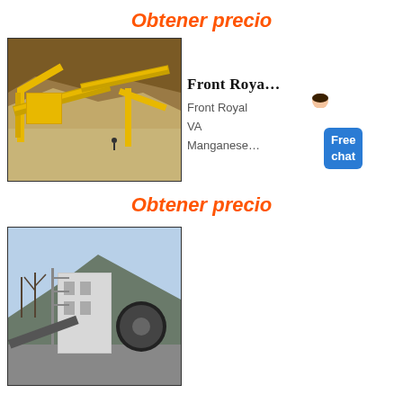Obtener precio
[Figure (photo): Industrial mining conveyor and screening plant with yellow steel framework at an open-pit mine site]
Front Roya…
Front Royal VA Manganese…
Free chat
Obtener precio
[Figure (photo): Industrial jaw crusher machinery at a quarry or processing plant with mountains in the background]
Manganese…
Manganese is a silver metallic…